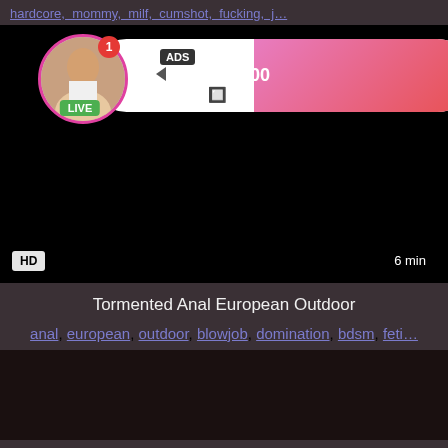hardcore, mommy, milf, cumshot, fucking, j...
[Figure (screenshot): Video thumbnail — black screen with HD badge and 6 min duration. An ad overlay appears with a profile photo of a woman (avatar with pink circle border and LIVE badge), notification badge showing 1, and a gradient pink-to-red box showing: ADS, Jeniffer 2000, (00:12)]
Tormented Anal European Outdoor
anal, european, outdoor, blowjob, domination, bdsm, feti...
[Figure (screenshot): Second video thumbnail — black screen]